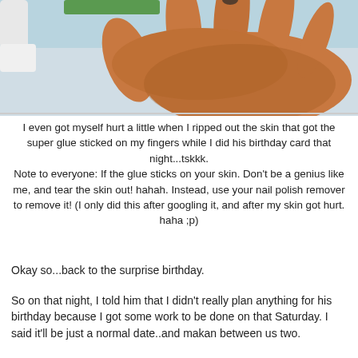[Figure (photo): A close-up photo of a person's hand with orange/reddish fingers, apparently stained or injured from super glue, against a light background with some objects visible.]
I even got myself hurt a little when I ripped out the skin that got the super glue sticked on my fingers while I did his birthday card that night...tskkk.
Note to everyone: If the glue sticks on your skin. Don't be a genius like me, and tear the skin out! hahah. Instead, use your nail polish remover to remove it! (I only did this after googling it, and after my skin got hurt. haha ;p)
Okay so...back to the surprise birthday.
So on that night, I told him that I didn't really plan anything for his birthday because I got some work to be done on that Saturday. I said it'll be just a normal date..and makan between us two.